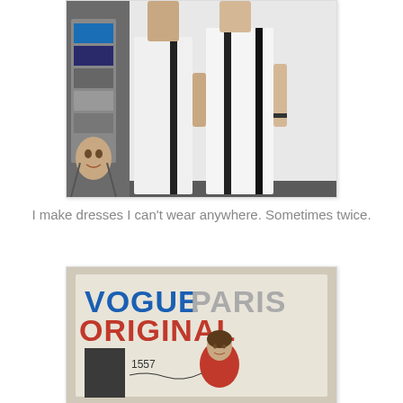[Figure (photo): Two women in long white dresses with black vertical stripes, standing backstage near a magazine display rack. A man's face visible behind display.]
I make dresses I can't wear anywhere. Sometimes twice.
[Figure (photo): Vogue Paris Original sewing pattern envelope number 1557, showing a woman with short dark hair wearing a red dress.]